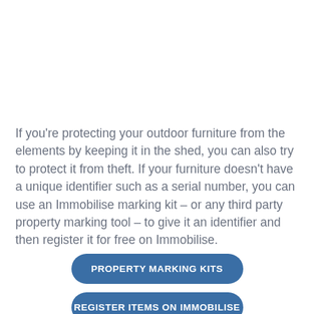If you're protecting your outdoor furniture from the elements by keeping it in the shed, you can also try to protect it from theft. If your furniture doesn't have a unique identifier such as a serial number, you can use an Immobilise marking kit – or any third party property marking tool – to give it an identifier and then register it for free on Immobilise.
PROPERTY MARKING KITS
REGISTER ITEMS ON IMMOBILISE